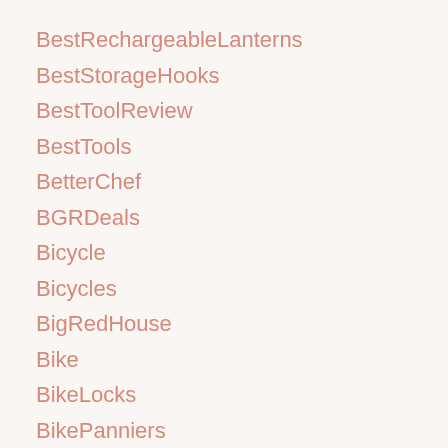BestRechargeableLanterns
BestStorageHooks
BestToolReview
BestTools
BetterChef
BGRDeals
Bicycle
Bicycles
BigRedHouse
Bike
BikeLocks
BikePanniers
BinwidthR
BinWitweAbWannMussIchSteuerZahlen